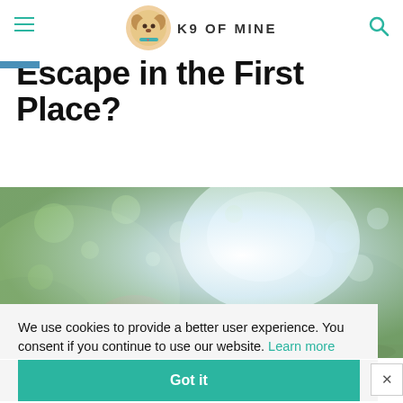K9 OF MINE
Escape in the First Place?
[Figure (photo): Blurred bokeh background photo of green foliage and bright light, likely showing a dog in an outdoor garden setting]
We use cookies to provide a better user experience. You consent if you continue to use our website. Learn more
Got it